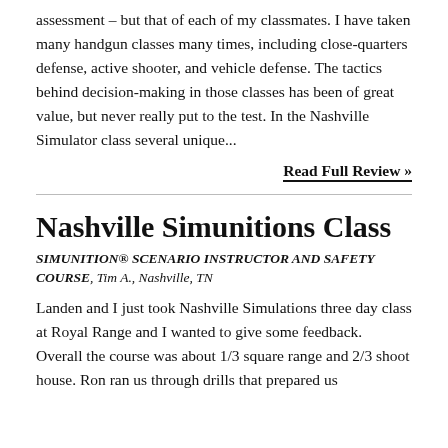assessment – but that of each of my classmates. I have taken many handgun classes many times, including close-quarters defense, active shooter, and vehicle defense. The tactics behind decision-making in those classes has been of great value, but never really put to the test. In the Nashville Simulator class several unique...
Read Full Review »
Nashville Simunitions Class
SIMUNITION® SCENARIO INSTRUCTOR AND SAFETY COURSE, Tim A., Nashville, TN
Landen and I just took Nashville Simulations three day class at Royal Range and I wanted to give some feedback. Overall the course was about 1/3 square range and 2/3 shoot house. Ron ran us through drills that prepared us